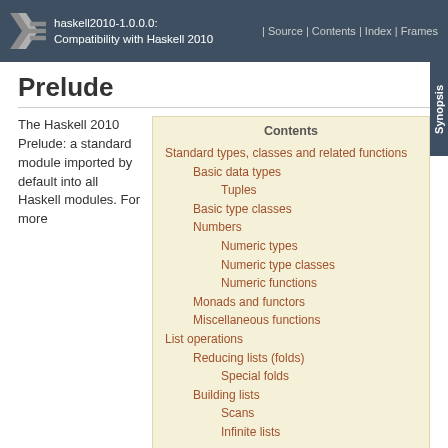haskell2010-1.0.0.0: Compatibility with Haskell 2010 | Source | Contents | Index | Frames
Prelude
The Haskell 2010 Prelude: a standard module imported by default into all Haskell modules. For more
Contents
Standard types, classes and related functions
  Basic data types
    Tuples
  Basic type classes
  Numbers
    Numeric types
    Numeric type classes
    Numeric functions
  Monads and functors
  Miscellaneous functions
List operations
  Reducing lists (folds)
    Special folds
  Building lists
    Scans
    Infinite lists